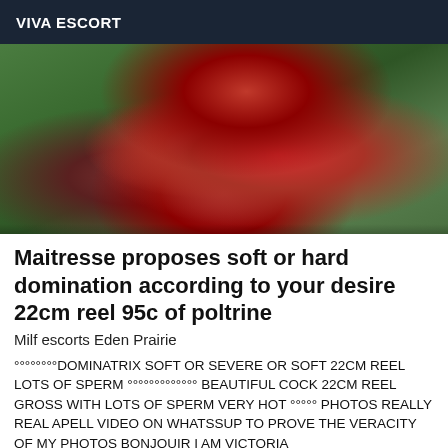VIVA ESCORT
[Figure (photo): A woman in red lingerie and fishnet stockings posing on railway tracks outdoors with green foliage in the background.]
Maitresse proposes soft or hard domination according to your desire 22cm reel 95c of poltrine
Milf escorts Eden Prairie
°°°°°°°°DOMINATRIX SOFT OR SEVERE OR SOFT 22CM REEL LOTS OF SPERM °°°°°°°°°°°°° BEAUTIFUL COCK 22CM REEL GROSS WITH LOTS OF SPERM VERY HOT °°°°° PHOTOS REALLY REAL APELL VIDEO ON WHATSSUP TO PROVE THE VERACITY OF MY PHOTOS BONJOUIR I AM VICTORIA